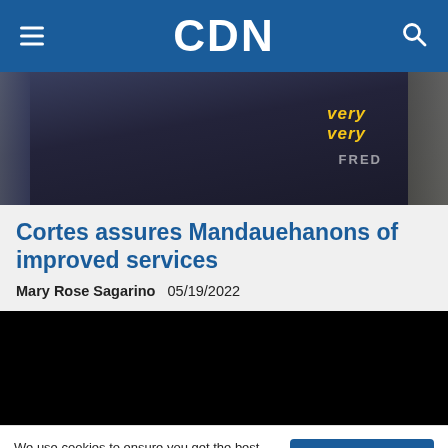CDN
[Figure (photo): Photo of a person's back wearing a dark navy hoodie/sweatshirt with yellow text reading 'very very' and partial text below, standing near a brick wall]
Cortes assures Mandauehanons of improved services
Mary Rose Sagarino   05/19/2022
[Figure (other): Black video player embed area]
We use cookies to ensure you get the best experience on our website. By continuing, you are agreeing to our use of cookies. To find out more, please click this link.